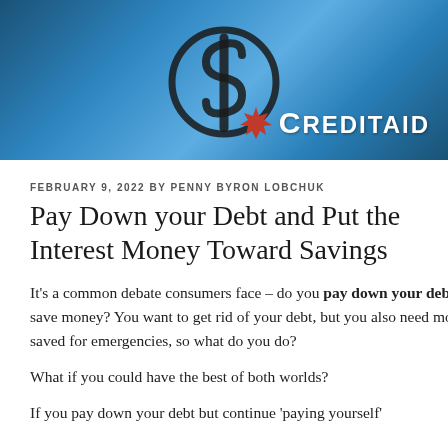[Figure (photo): Blue banner header image with a dark dollar sign symbol in the center and a CreditAid logo (red maple leaf + CREDITAID text in white) in the bottom right corner.]
FEBRUARY 9, 2022 BY PENNY BYRON LOBCHUK
Pay Down your Debt and Put the Interest Money Toward Savings
It's a common debate consumers face – do you pay down your debt or save money? You want to get rid of your debt, but you also need money saved for emergencies, so what do you do?
What if you could have the best of both worlds?
If you pay down your debt but continue 'paying yourself'